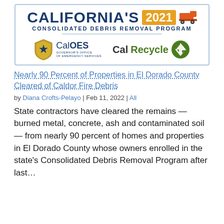[Figure (illustration): California's 2021 Consolidated Debris Removal Program header image with Cal OES and CalRecycle logos, featuring an orange dump truck icon]
Nearly 90 Percent of Properties in El Dorado County Cleared of Caldor Fire Debris
by Diana Crofts-Pelayo | Feb 11, 2022 | All
State contractors have cleared the remains — burned metal, concrete, ash and contaminated soil — from nearly 90 percent of homes and properties in El Dorado County whose owners enrolled in the state's Consolidated Debris Removal Program after last…